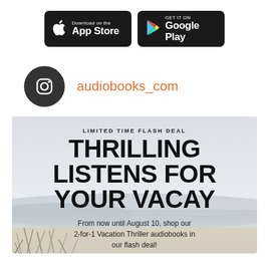[Figure (logo): App Store and Google Play download buttons on black rounded rectangle badges]
[Figure (logo): Instagram icon circle with handle audiobooks_com in orange text]
[Figure (photo): Promotional banner with beach background showing text: LIMITED TIME FLASH DEAL, THRILLING LISTENS FOR YOUR VACAY, From now until August 10, shop our 2-for-1 Vacation Thriller audiobooks in our flash deal!]